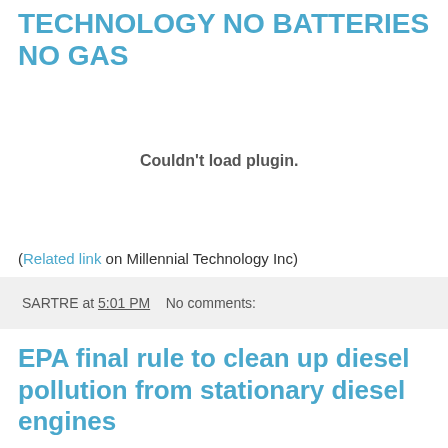TECHNOLOGY NO BATTERIES NO GAS
[Figure (other): Embedded plugin area showing 'Couldn't load plugin.' message]
(Related link on Millennial Technology Inc)
SARTRE at 5:01 PM   No comments:
EPA final rule to clean up diesel pollution from stationary diesel engines